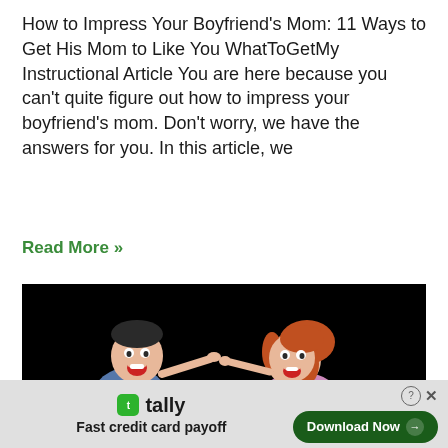How to Impress Your Boyfriend's Mom: 11 Ways to Get His Mom to Like You WhatToGetMy Instructional Article You are here because you can't quite figure out how to impress your boyfriend's mom. Don't worry, we have the answers for you. In this article, we
Read More »
[Figure (illustration): Cartoon animation still on black background showing two cartoon characters arguing — a man in blue and a woman in pink/purple. White bold text overlay reads 'WHAT NOT TO DO IN A RELATIONSHIP WITH YOUR BOYFRIEND' with 'whattogetmy.com' below.]
tally Fast credit card payoff  Download Now →